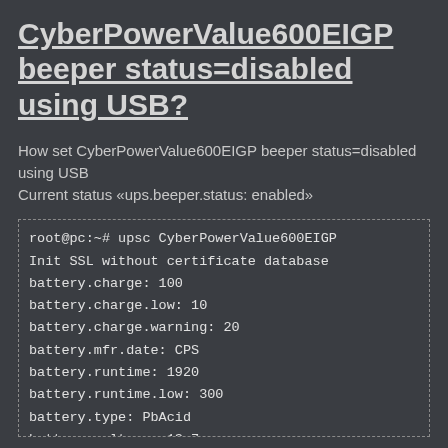CyberPowerValue600EIGP beeper status=disabled using USB?
How set CyberPowerValue600EIGP beeper status=disabled using USB
Current status «ups.beeper.status: enabled»
[Figure (screenshot): Terminal code block showing upsc CyberPowerValue600EIGP command output with battery status values including battery.charge: 100, battery.charge.low: 10, battery.charge.warning: 20, battery.mfr.date: CPS, battery.runtime: 1920, battery.runtime.low: 300, battery.type: PbAcid, battery.voltage: 13.7]